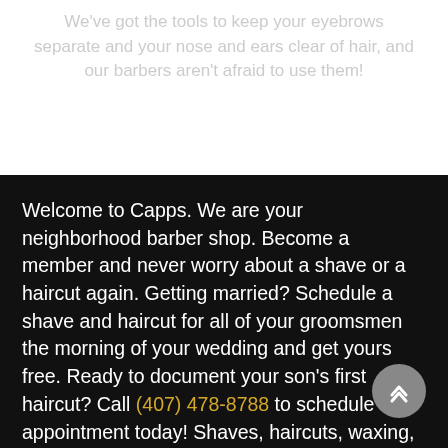We've got the tools to keep your eyebrows separate and your nose and ears clear of hair, and our barbers aren't afraid to use them!
Welcome to Capps. We are your neighborhood barber shop. Become a member and never worry about a shave or a haircut again. Getting married? Schedule a shave and haircut for all of your groomsmen the morning of your wedding and get yours free. Ready to document your son's first haircut? Call (407) 478-8788 to schedule an appointment today! Shaves, haircuts, waxing, trims, facials, and more. When our barbers are done, you'll leave looking like a winner.